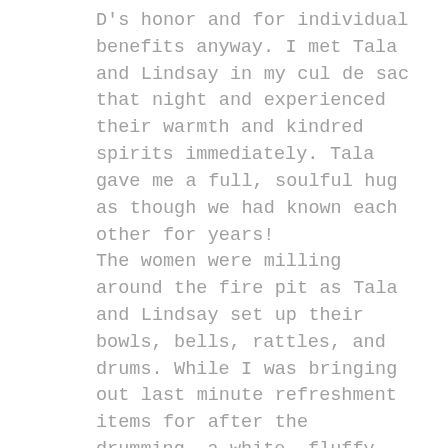D's honor and for individual benefits anyway. I met Tala and Lindsay in my cul de sac that night and experienced their warmth and kindred spirits immediately. Tala gave me a full, soulful hug as though we had known each other for years! The women were milling around the fire pit as Tala and Lindsay set up their bowls, bells, rattles, and drums. While I was bringing out last minute refreshment items for after the drumming, a white, fluffy feather (not from the typical northeastern birds) floated down by the circle between Cathy, Brenda, and Erin! The three women stopped mid conversation to marvel and retrieve it. It was immediately identified as an "angel feather." We all got the chills and felt its surprising appearance as something spiritual. A